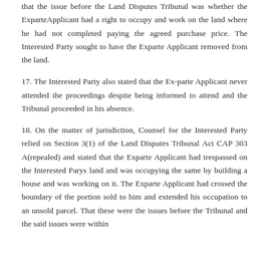that the issue before the Land Disputes Tribunal was whether the ExparteApplicant had a right to occupy and work on the land where he had not completed paying the agreed purchase price. The Interested Party sought to have the Exparte Applicant removed from the land.
17. The Interested Party also stated that the Ex-parte Applicant never attended the proceedings despite being informed to attend and the Tribunal proceeded in his absence.
18. On the matter of jurisdiction, Counsel for the Interested Party relied on Section 3(1) of the Land Disputes Tribunal Act CAP 303 A(repealed) and stated that the Exparte Applicant had trespassed on the Interested Parys land and was occupying the same by building a house and was working on it. The Exparte Applicant had crossed the boundary of the portion sold to him and extended his occupation to an unsold parcel. That these were the issues before the Tribunal and the said issues were within